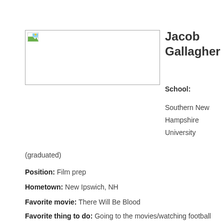[Figure (photo): Placeholder photo box with broken image icon]
Jacob Gallagher
School:
Southern New Hampshire University
(graduated)
Position: Film prep
Hometown: New Ipswich, NH
Favorite movie: There Will Be Blood
Favorite thing to do: Going to the movies/watching football